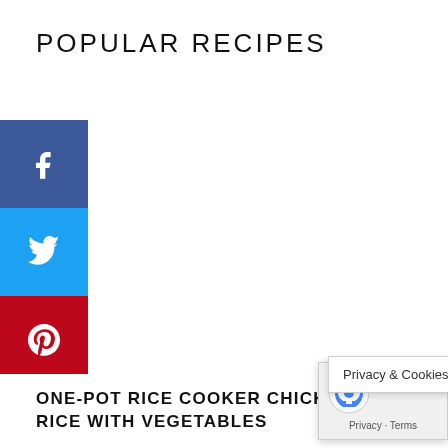POPULAR RECIPES
[Figure (infographic): Vertical social sharing sidebar with buttons: Facebook (dark blue), Twitter (light blue), Pinterest (red), Email (green), Print (gray)]
ONE-POT RICE COOKER CHICKEN RICE WITH VEGETABLES
[Figure (screenshot): Privacy & Cookies Policy banner overlay with reCAPTCHA icon and Privacy - Terms links]